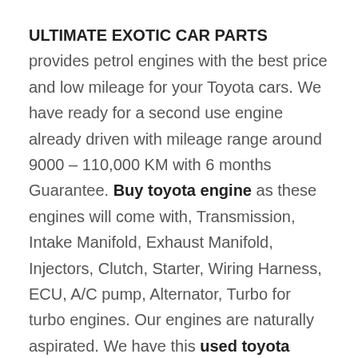ULTIMATE EXOTIC CAR PARTS provides petrol engines with the best price and low mileage for your Toyota cars. We have ready for a second use engine already driven with mileage range around 9000 – 110,000 KM with 6 months Guarantee. Buy toyota engine as these engines will come with, Transmission, Intake Manifold, Exhaust Manifold, Injectors, Clutch, Starter, Wiring Harness, ECU, A/C pump, Alternator, Turbo for turbo engines. Our engines are naturally aspirated. We have this used toyota engine for sale at very reasonable price. As per your order, the manual or automatic transmission will be included. These engines we provide are gasoline(petrol) and diesel engines which they come from our suppliers in South Korea, Germany, Japan, and the United Kingdom.The Maximum engine power,